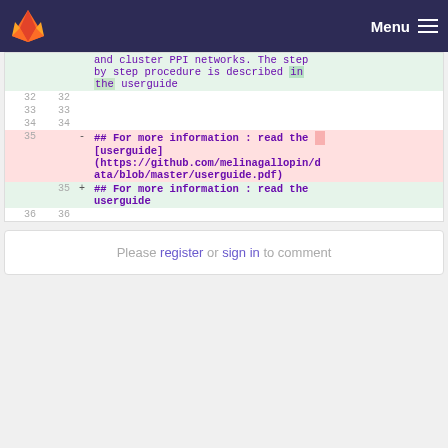GitLab — Menu
| old_line | new_line | marker | code |
| --- | --- | --- | --- |
|  |  |  | and cluster PPI networks. The step by step procedure is described in the userguide |
| 32 | 32 |  |  |
| 33 | 33 |  |  |
| 34 | 34 |  |  |
| 35 |  | - | ## For more information : read the [userguide](https://github.com/melinagallopin/data/blob/master/userguide.pdf) |
|  | 35 | + | ## For more information : read the userguide |
| 36 | 36 |  |  |
Please register or sign in to comment